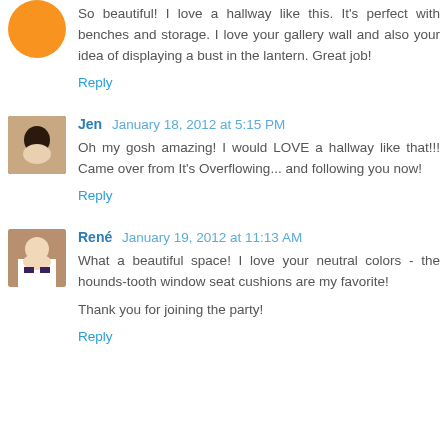So beautiful! I love a hallway like this. It's perfect with benches and storage. I love your gallery wall and also your idea of displaying a bust in the lantern. Great job!
Reply
Jen January 18, 2012 at 5:15 PM
Oh my gosh amazing! I would LOVE a hallway like that!!! Came over from It's Overflowing... and following you now!
Reply
René January 19, 2012 at 11:13 AM
What a beautiful space! I love your neutral colors - the hounds-tooth window seat cushions are my favorite!

Thank you for joining the party!
Reply